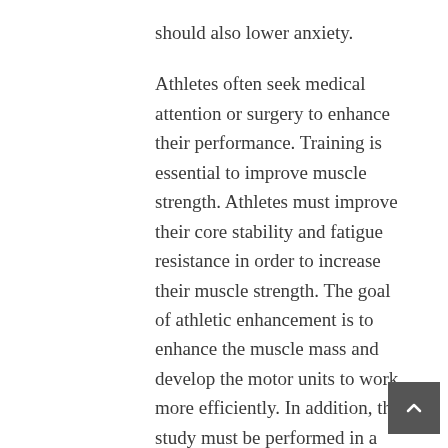should also lower anxiety.
Athletes often seek medical attention or surgery to enhance their performance. Training is essential to improve muscle strength. Athletes must improve their core stability and fatigue resistance in order to increase their muscle strength. The goal of athletic enhancement is to enhance the muscle mass and develop the motor units to work more efficiently. In addition, the study must be performed in a high-impact laboratory setting.
The first step to improving athletic performance is sports-specific training. The next step is to gain a complete understanding of sports-related issues. Performance enhancement, for example, should be based